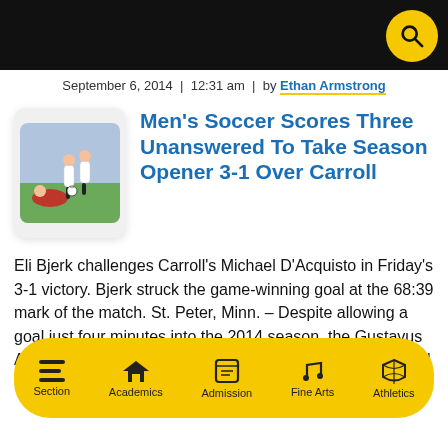September 6, 2014 | 12:31 am | by Ethan Armstrong
[Figure (photo): Soccer players competing on field, one player in red on ground, others in white jerseys]
Men's Soccer Scores Three Unanswered To Take Season Opener 3-1 Over Carroll
Eli Bjerk challenges Carroll's Michael D'Acquisto in Friday's 3-1 victory. Bjerk struck the game-winning goal at the 68:39 mark of the match. St. Peter, Minn. – Despite allowing a goal just four minutes into the 2014 season, the Gustavus Adolphus men's soccer team was able to bounce back and rattle off three unanswered
Section | Academics | Admission | Fine Arts | Athletics